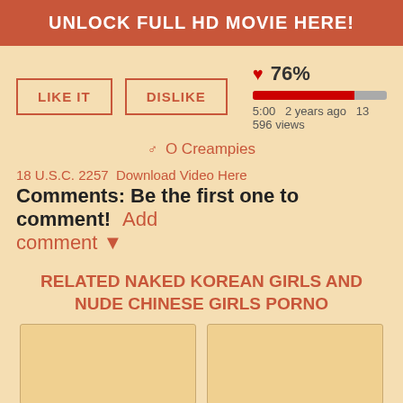UNLOCK FULL HD MOVIE HERE!
[Figure (other): Like It and Dislike buttons with rating bar showing 76%, 5:00, 2 years ago, 13 596 views]
O Creampies
18 U.S.C. 2257   Download Video Here
Comments: Be the first one to comment!   Add comment ▼
RELATED NAKED KOREAN GIRLS AND NUDE CHINESE GIRLS PORNO
[Figure (other): Two thumbnail image placeholders side by side]